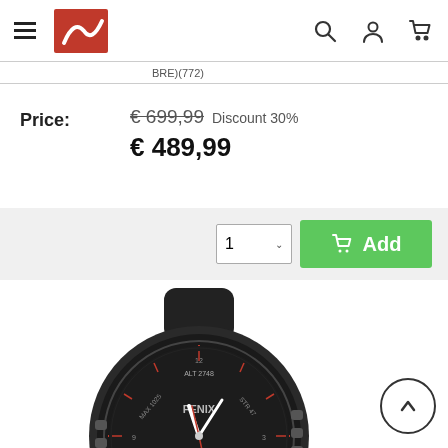Navigation header with hamburger menu, logo, search, user, and cart icons
BRE)(772)
Price: € 699,99 Discount 30% € 489,99
[Figure (screenshot): Add to cart bar with quantity selector showing '1' and green Add button with cart icon]
[Figure (photo): Garmin Fenix 6 smartwatch with dark grey case and black band, showing watch face with SAT 01 and BATV 100 display]